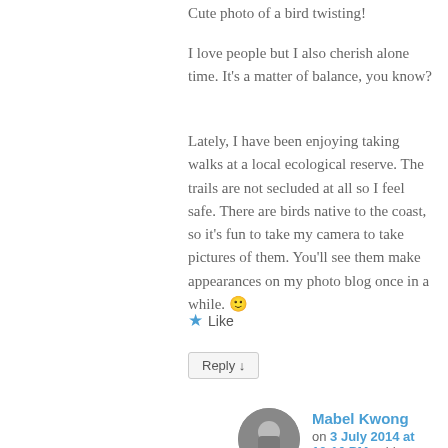Cute photo of a bird twisting!
I love people but I also cherish alone time. It's a matter of balance, you know?
Lately, I have been enjoying taking walks at a local ecological reserve. The trails are not secluded at all so I feel safe. There are birds native to the coast, so it's fun to take my camera to take pictures of them. You'll see them make appearances on my photo blog once in a while. 🙂
★ Like
Reply ↓
Mabel Kwong on 3 July 2014 at 10:16 PM said:
Thanks, Miki. Glad you liked the bird photo. Didn't expect it to turn out that clear. Balance